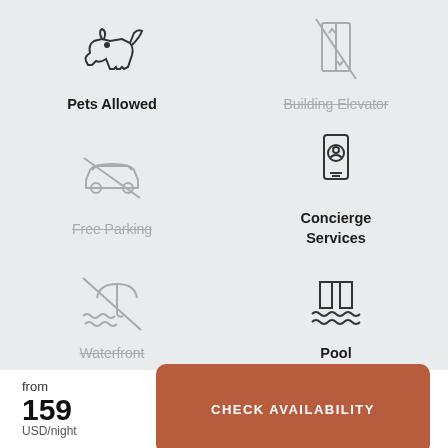[Figure (infographic): Amenities grid with 6 icons: Pets Allowed (active), Building Elevator (crossed out/inactive), Free Parking (crossed out/inactive), Concierge Services (active), Waterfront (crossed out/inactive), Pool (active)]
from 159 USD/night
CHECK AVAILABILITY